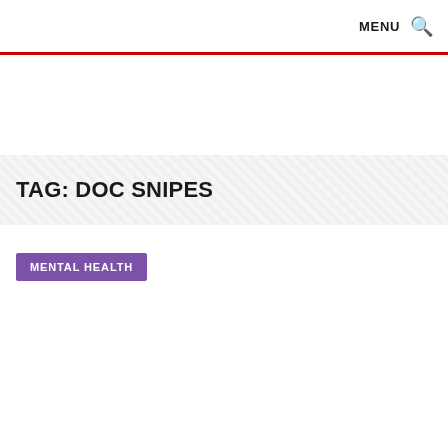MENU 🔍
TAG: DOC SNIPES
MENTAL HEALTH